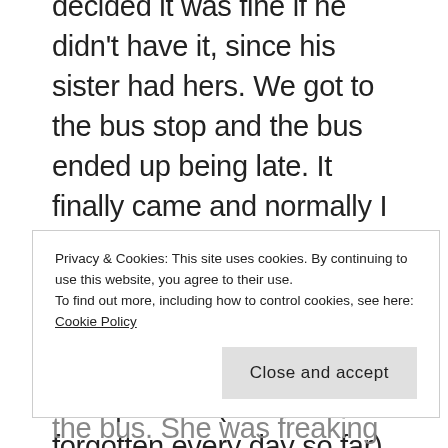decided it was fine if he didn't have it, since his sister had hers. We got to the bus stop and the bus ended up being late. It finally came and normally I would head out on my walk right after they pulled away, but I needed to go to the bathroom and I wanted my headphones (which I've forgotten every day so far). Because of all of that, I had a later start than usual to my walk and I'm trying to go longer each day, so it was later than usual when I got back. I cooled off for a bit, then had to shower so I could go to the church to meet up with the ladies that have been in charge of the church library. They are both in their 80s and decided it was time to teach someone that could take over. I could only stay for a 20 minutes, as I had my therapy appointment (I'll
Privacy & Cookies: This site uses cookies. By continuing to use this website, you agree to their use.
To find out more, including how to control cookies, see here: Cookie Policy
Close and accept
that her brother was not on the bus. She was freaking out. Of